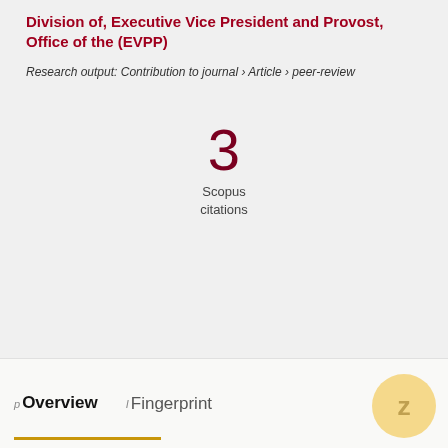Division of, Executive Vice President and Provost, Office of the (EVPP)
Research output: Contribution to journal › Article › peer-review
3
Scopus
citations
Overview   Fingerprint